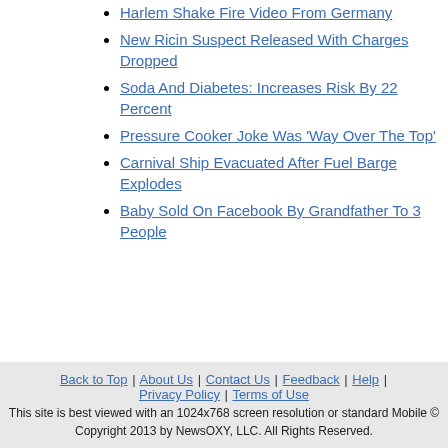Harlem Shake Fire Video From Germany
New Ricin Suspect Released With Charges Dropped
Soda And Diabetes: Increases Risk By 22 Percent
Pressure Cooker Joke Was 'Way Over The Top'
Carnival Ship Evacuated After Fuel Barge Explodes
Baby Sold On Facebook By Grandfather To 3 People
Back to Top | About Us | Contact Us | Feedback | Help | Privacy Policy | Terms of Use
This site is best viewed with an 1024x768 screen resolution or standard Mobile © Copyright 2013 by NewsOXY, LLC. All Rights Reserved.